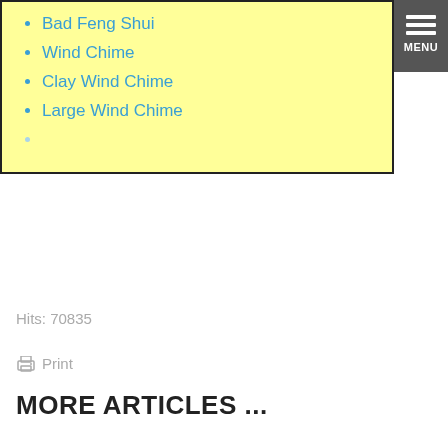Bad Feng Shui
Wind Chime
Clay Wind Chime
Large Wind Chime
Hits: 70835
Print
MORE ARTICLES ...
Plants in Bedroom